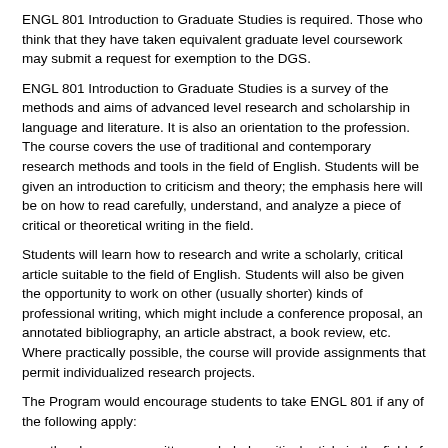ENGL 801 Introduction to Graduate Studies is required. Those who think that they have taken equivalent graduate level coursework may submit a request for exemption to the DGS.
ENGL 801 Introduction to Graduate Studies is a survey of the methods and aims of advanced level research and scholarship in language and literature. It is also an orientation to the profession. The course covers the use of traditional and contemporary research methods and tools in the field of English. Students will be given an introduction to criticism and theory; the emphasis here will be on how to read carefully, understand, and analyze a piece of critical or theoretical writing in the field.
Students will learn how to research and write a scholarly, critical article suitable to the field of English. Students will also be given the opportunity to work on other (usually shorter) kinds of professional writing, which might include a conference proposal, an annotated bibliography, an article abstract, a book review, etc. Where practically possible, the course will provide assignments that permit individualized research projects.
The Program would encourage students to take ENGL 801 if any of the following apply:
they have never written a scholarly, critical article in the field of English
they have never written a paper longer than 15 pages
they have had little experience reading criticism or theory